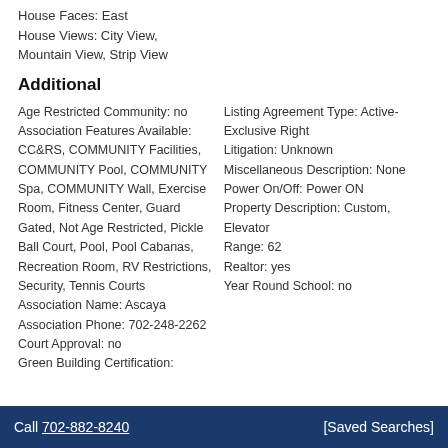House Faces: East
House Views: City View, Mountain View, Strip View
Additional
Age Restricted Community: no
Association Features Available: CC&RS, COMMUNITY Facilities, COMMUNITY Pool, COMMUNITY Spa, COMMUNITY Wall, Exercise Room, Fitness Center, Guard Gated, Not Age Restricted, Pickle Ball Court, Pool, Pool Cabanas, Recreation Room, RV Restrictions, Security, Tennis Courts
Association Name: Ascaya
Association Phone: 702-248-2262
Court Approval: no
Green Building Certification:
Listing Agreement Type: Active-Exclusive Right
Litigation: Unknown
Miscellaneous Description: None
Power On/Off: Power ON
Property Description: Custom, Elevator
Range: 62
Realtor: yes
Year Round School: no
Call 702-882-8240   [Saved Searches]